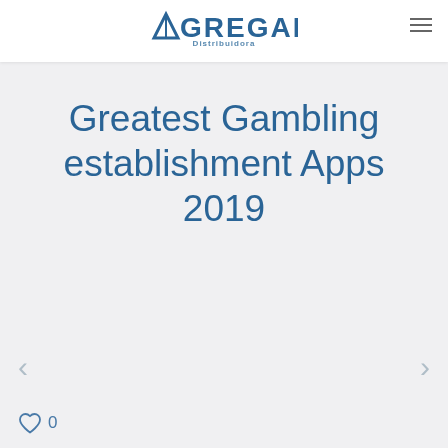AGREGAR Distribuidora
Greatest Gambling establishment Apps 2019
< >
0